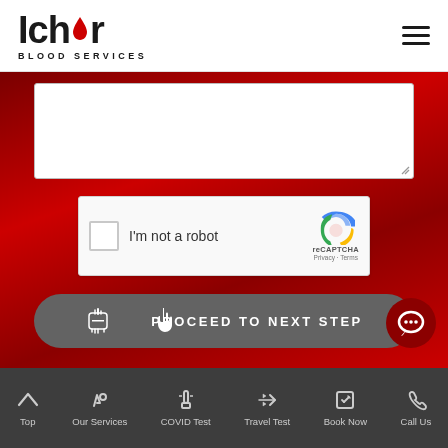Ichor Blood Services
[Figure (screenshot): Textarea input field on red background, part of a form]
[Figure (screenshot): reCAPTCHA widget with checkbox labeled I'm not a robot and reCAPTCHA logo with Privacy and Terms links]
[Figure (screenshot): Gray rounded button with hand pointer icon and text PROCEED TO NEXT STEP]
[Figure (screenshot): Dark red circular chat button with speech bubble icon]
Top  Our Services  COVID Test  Travel Test  Book Now  Call Us